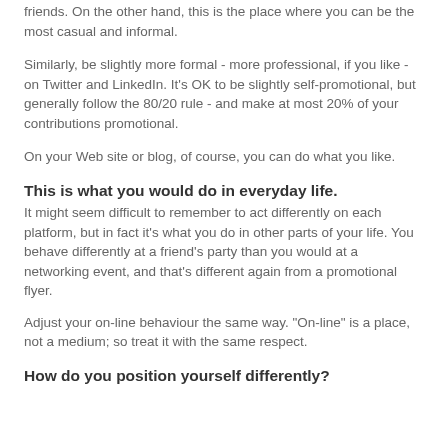friends. On the other hand, this is the place where you can be the most casual and informal.
Similarly, be slightly more formal - more professional, if you like - on Twitter and LinkedIn. It's OK to be slightly self-promotional, but generally follow the 80/20 rule - and make at most 20% of your contributions promotional.
On your Web site or blog, of course, you can do what you like.
This is what you would do in everyday life.
It might seem difficult to remember to act differently on each platform, but in fact it's what you do in other parts of your life. You behave differently at a friend's party than you would at a networking event, and that's different again from a promotional flyer.
Adjust your on-line behaviour the same way. "On-line" is a place, not a medium; so treat it with the same respect.
How do you position yourself differently?